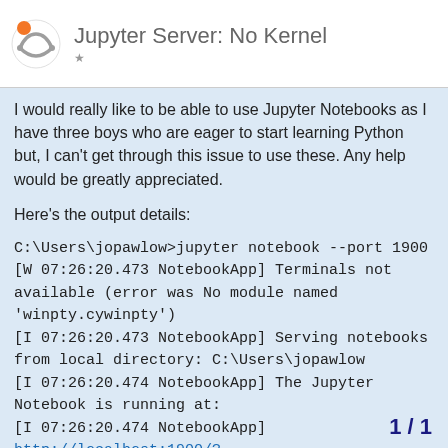Jupyter Server: No Kernel
I would really like to be able to use Jupyter Notebooks as I have three boys who are eager to start learning Python but, I can't get through this issue to use these. Any help would be greatly appreciated.
Here's the output details:
C:\Users\jopawlow>jupyter notebook --port 1900
[W 07:26:20.473 NotebookApp] Terminals not available (error was No module named 'winpty.cywinpty')
[I 07:26:20.473 NotebookApp] Serving notebooks from local directory: C:\Users\jopawlow
[I 07:26:20.474 NotebookApp] The Jupyter Notebook is running at:
[I 07:26:20.474 NotebookApp] http://localhost:1900/?token=5f82a2009bd791c87087e28adfbaedcbc97245735fc2292b 1
[I 07:26:20.474 NotebookApp] or http://127... token=5f82a2009bd791c87087e28adfbae
1 / 1